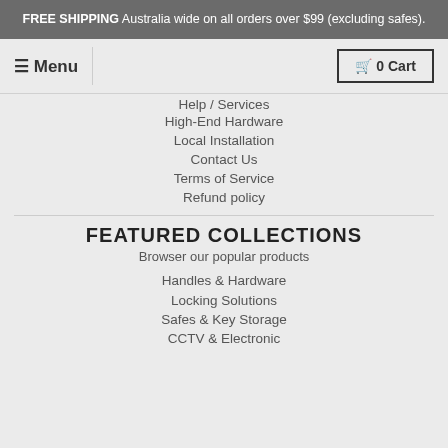FREE SHIPPING Australia wide on all orders over $99 (excluding safes).
≡ Menu | 0 Cart
Help / Services
High-End Hardware
Local Installation
Contact Us
Terms of Service
Refund policy
FEATURED COLLECTIONS
Browser our popular products
Handles & Hardware
Locking Solutions
Safes & Key Storage
CCTV & Electronic